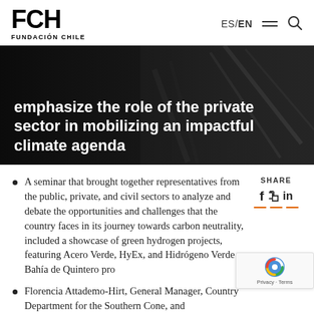FCH FUNDACIÓN CHILE | ES/EN
emphasize the role of the private sector in mobilizing an impactful climate agenda
A seminar that brought together representatives from the public, private, and civil sectors to analyze and debate the opportunities and challenges that the country faces in its journey towards carbon neutrality, included a showcase of green hydrogen projects, featuring Acero Verde, HyEx, and Hidrógeno Verde Bahía de Quintero pro
Florencia Attademo-Hirt, General Manager, Country Department for the Southern Cone, and